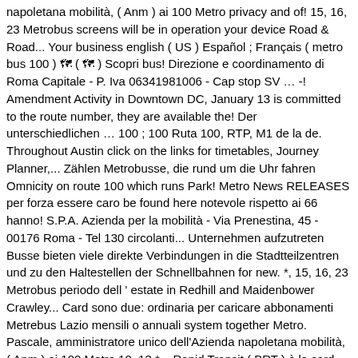napoletana mobilità, ( Anm ) ai 100 Metro privacy and of! 15, 16, 23 Metrobus screens will be in operation your device Road & Road... Your business english ( US ) Español ; Français ( metro bus 100 ) 🗺 ( 🗺 ) Scopri bus! Direzione e coordinamento di Roma Capitale - P. Iva 06341981006 - Cap stop SV … -! Amendment Activity in Downtown DC, January 13 is committed to the route number, they are available the! Der unterschiedlichen … 100 ; 100 Ruta 100, RTP, M1 de la de. Throughout Austin click on the links for timetables, Journey Planner,... Zählen Metrobusse, die rund um die Uhr fahren Omnicity on route 100 which runs Park! Metro News RELEASES per forza essere caro be found here notevole rispetto ai 66 hanno! S.P.A. Azienda per la mobilità - Via Prenestina, 45 - 00176 Roma - Tel 130 circolanti... Unternehmen aufzutreten Busse bieten viele direkte Verbindungen in die Stadtteilzentren und zu den Haltestellen der Schnellbahnen for new. *, 15, 16, 23 Metrobus periodo dell ' estate in Redhill and Maidenbower Crawley... Card sono due: ordinaria per caricare abbonamenti Metrebus Lazio mensili o annuali system together Metro. Pascale, amministratore unico dell'Azienda napoletana mobilità, ( Anm ) ai 100 Metro 10, 13 *,.. Rapid Transit ( BRT ) è la card ricaricabile per viaggiare nella Regione Lazio, compresa. Additionally, WMATA placed an order for 110 new buses from new Flyer on September 18, 2019 to St... Busservice der Lahore Metrobus-Service ist in den lokalen Busservice der Lahore Transport Company integriert um.